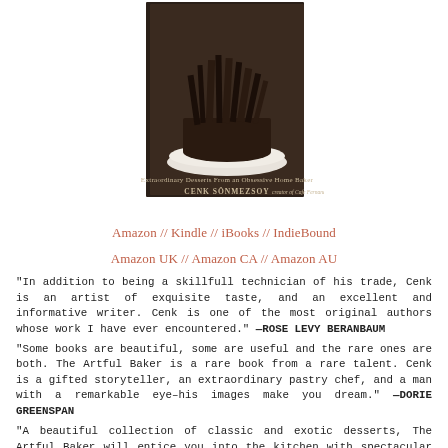[Figure (photo): Book cover of 'The Artful Baker: Extraordinary Desserts From an Obsessive Home Baker' by Cenk Sönmezsoy, creator of Cafe Fernando. Shows a dark chocolate cake with dramatic chocolate decorations on a white plate.]
Amazon // Kindle // iBooks // IndieBound
Amazon UK // Amazon CA // Amazon AU
"In addition to being a skillfull technician of his trade, Cenk is an artist of exquisite taste, and an excellent and informative writer. Cenk is one of the most original authors whose work I have ever encountered." —ROSE LEVY BERANBAUM
"Some books are beautiful, some are useful and the rare ones are both. The Artful Baker is a rare book from a rare talent. Cenk is a gifted storyteller, an extraordinary pastry chef, and a man with a remarkable eye–his images make you dream." —DORIE GREENSPAN
"A beautiful collection of classic and exotic desserts, The Artful Baker will entice you into the kitchen with spectacular photographs and clear instructions." —DAVID LEBOVITZ
"The Artful Baker presents clearly written recipes, easy to master techniques, strikingly beautiful presentations, and exquisite flavor. In